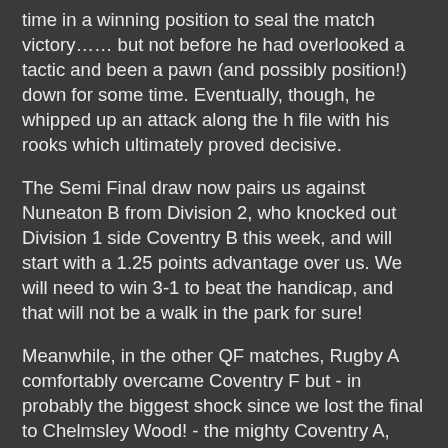time in a winning position to seal the match victory…… but not before he had overlooked a tactic and been a pawn (and possibly position!) down for some time. Eventually, though, he whipped up an attack along the h file with his rooks which ultimately proved decisive.
The Semi Final draw now pairs us against Nuneaton B from Division 2, who knocked out Division 1 side Coventry B this week, and will start with a 1.25 points advantage over us. We will need to win 3-1 to beat the handicap, and that will not be a walk in the park for sure!
Meanwhile, in the other QF matches, Rugby A comfortably overcame Coventry F but - in probably the biggest shock since we lost the final to Chelmsley Wood! - the mighty Coventry A, comprising 4 KCC members, failed to beat the handicap against Division 2 Rugby B and left the competition with their tails between their legs. Joshua's sudden change of form continued as he could only draw with Martin Wilson on top board, while Ed achieved the same result against John Hall. Lionel showed that some KCC members still know how to win, but unfortunately for Coventry, Roy - thrust onto